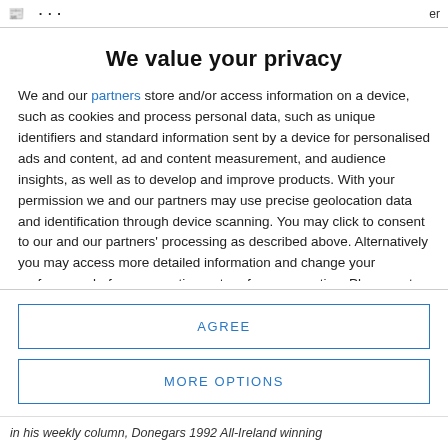er
We value your privacy
We and our partners store and/or access information on a device, such as cookies and process personal data, such as unique identifiers and standard information sent by a device for personalised ads and content, ad and content measurement, and audience insights, as well as to develop and improve products. With your permission we and our partners may use precise geolocation data and identification through device scanning. You may click to consent to our and our partners' processing as described above. Alternatively you may access more detailed information and change your preferences before consenting or to refuse consenting. Please note that some processing of your personal data may not require your consent, but you have a right to
AGREE
MORE OPTIONS
in his weekly column, Donegars 1992 All-Ireland winning